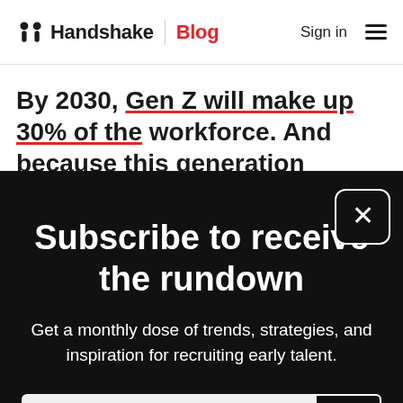Handshake | Blog  Sign in
By 2030, Gen Z will make up 30% of the workforce. And because this generation
Subscribe to receive the rundown
Get a monthly dose of trends, strategies, and inspiration for recruiting early talent.
Work email